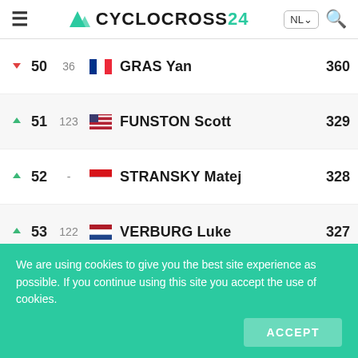CYCLOCROSS24
|  | Rank | Prev | Country | Name | Points |
| --- | --- | --- | --- | --- | --- |
| ▼ | 50 | 36 | France | GRAS Yan | 360 |
| ▲ | 51 | 123 | USA | FUNSTON Scott | 329 |
| ▲ | 52 | - | Czech Republic | STRANSKY Matej | 328 |
| ▲ | 53 | 122 | Netherlands | VERBURG Luke | 327 |
| ▲ | 54 | 115 | USA | SWARTZ Caleb | 306 |
| ▲ | 55 | - | USA | MCGILL Scott | 284 |
| ▲ | 56 | - | Belgium | MICHELS Jente | 275 |
| ▲ | 57 | 60 | Italy | SAMPARISI Nicolas | 271 |
| ▲ | 58 | 174 | Germany | INGUANZO MACHO Gonzalo | 263 |
We are using cookies to give you the best site experience as possible. If you continue using this site you accept the use of cookies.